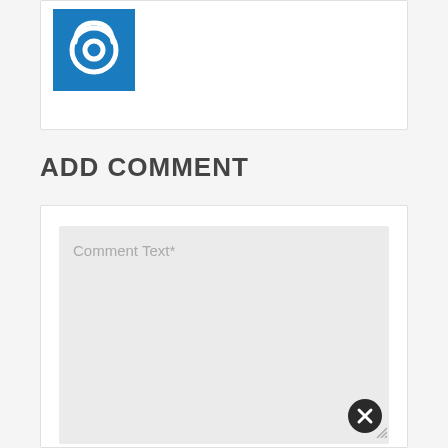[Figure (logo): Blue square logo with white circular target/eye icon]
ADD COMMENT
[Figure (screenshot): Comment text input form with light gray textarea showing placeholder text 'Comment Text*' and an X clear button in the bottom right corner]